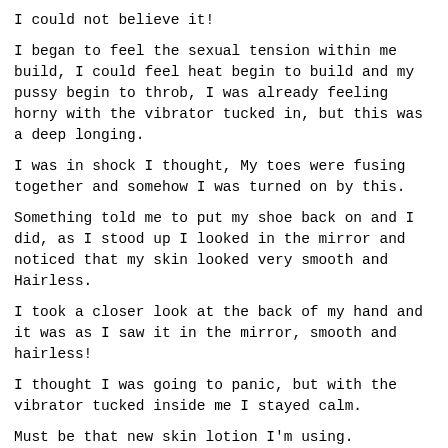I could not believe it!
I began to feel the sexual tension within me build, I could feel heat begin to build and my pussy begin to throb, I was already feeling horny with the vibrator tucked in, but this was a deep longing.
I was in shock I thought, My toes were fusing together and somehow I was turned on by this.
Something told me to put my shoe back on and I did, as I stood up I looked in the mirror and noticed that my skin looked very smooth and Hairless.
I took a closer look at the back of my hand and it was as I saw it in the mirror, smooth and hairless!
I thought I was going to panic, but with the vibrator tucked inside me I stayed calm.
Must be that new skin lotion I'm using.